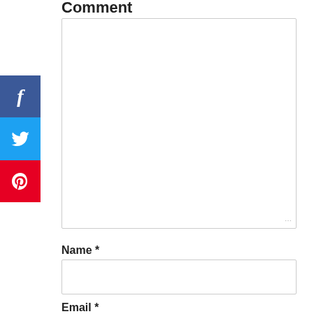Comment
[Figure (screenshot): A large empty comment text area input field with a resize handle in the bottom-right corner]
[Figure (screenshot): Social sharing sidebar with three buttons: Facebook (blue), Twitter (light blue), Pinterest (red)]
Name *
[Figure (screenshot): An empty Name text input field]
Email *
[Figure (screenshot): An empty Email text input field (partially visible at bottom)]